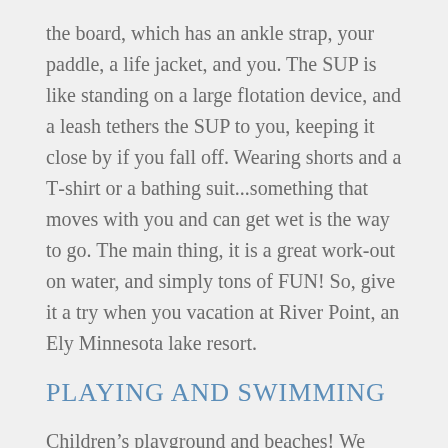the board, which has an ankle strap, your paddle, a life jacket, and you. The SUP is like standing on a large flotation device, and a leash tethers the SUP to you, keeping it close by if you fall off. Wearing shorts and a T-shirt or a bathing suit...something that moves with you and can get wet is the way to go. The main thing, it is a great work-out on water, and simply tons of FUN! So, give it a try when you vacation at River Point, an Ely Minnesota lake resort.
PLAYING AND SWIMMING
Children's playground and beaches! We have a Rainbow Monster Climbing Playground System. Kids love the creativity, the activity, and meeting new friends. Two safe, natural sand beaches to take a dip in. Soak up the sun while spending time building sand castles with the